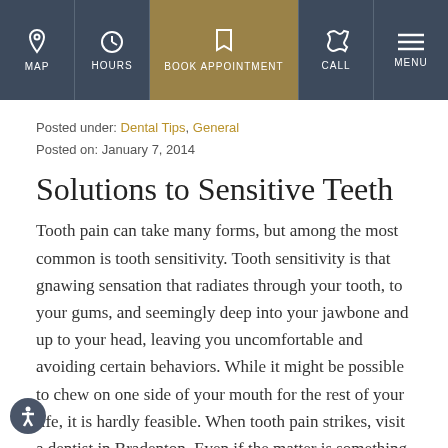MAP | HOURS | BOOK APPOINTMENT | CALL | MENU
Posted under: Dental Tips, General
Posted on: January 7, 2014
Solutions to Sensitive Teeth
Tooth pain can take many forms, but among the most common is tooth sensitivity. Tooth sensitivity is that gnawing sensation that radiates through your tooth, to your gums, and seemingly deep into your jawbone and up to your head, leaving you uncomfortable and avoiding certain behaviors. While it might be possible to chew on one side of your mouth for the rest of your life, it is hardly feasible. When tooth pain strikes, visit a dentist in Bradenton. Even if the matter is something as simple as sensitive teeth, your dental care team can offer solutions and help you address the most common forms of pain. Sensitive teeth...